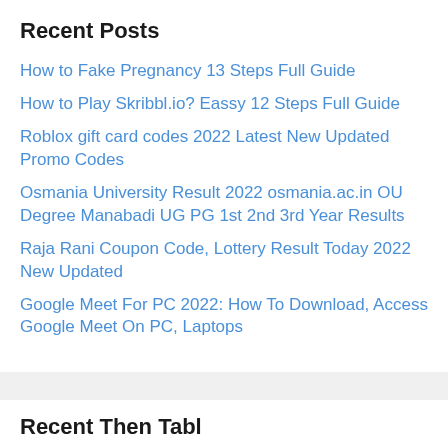Recent Posts
How to Fake Pregnancy 13 Steps Full Guide
How to Play Skribbl.io? Eassy 12 Steps Full Guide
Roblox gift card codes 2022 Latest New Updated Promo Codes
Osmania University Result 2022 osmania.ac.in OU Degree Manabadi UG PG 1st 2nd 3rd Year Results
Raja Rani Coupon Code, Lottery Result Today 2022 New Updated
Google Meet For PC 2022: How To Download, Access Google Meet On PC, Laptops
Recent Then Tabl...